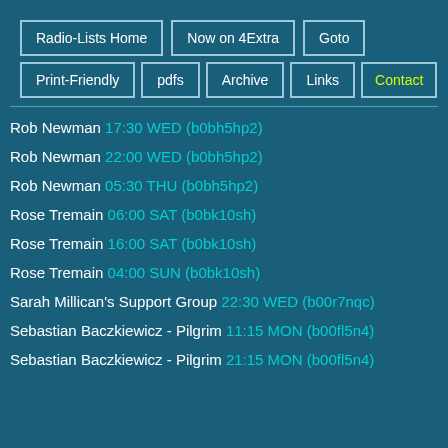Radio-Lists Home | Now on 4Extra | Goto | Print-Friendly | pdfs | Archive | Links | Contact
Rob Newman 17:30 WED (b0bh5hp2)
Rob Newman 22:00 WED (b0bh5hp2)
Rob Newman 05:30 THU (b0bh5hp2)
Rose Tremain 06:00 SAT (b0bk10sh)
Rose Tremain 16:00 SAT (b0bk10sh)
Rose Tremain 04:00 SUN (b0bk10sh)
Sarah Millican's Support Group 22:30 WED (b00r7nqc)
Sebastian Baczkiewicz - Pilgrim 11:15 MON (b00fl5n4)
Sebastian Baczkiewicz - Pilgrim 21:15 MON (b00fl5n4)